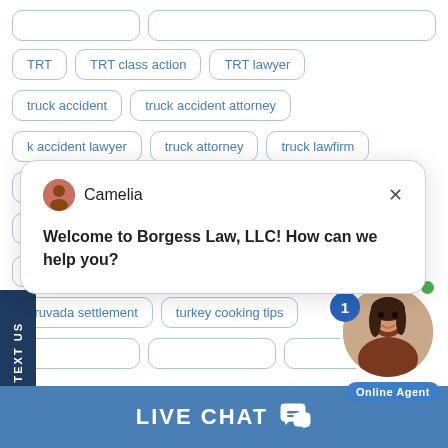[Figure (screenshot): Screenshot of a legal website keyword/tag cloud showing clickable search tags and a live chat popup from Borgess Law, LLC. Tags include TRT, TRT class action, TRT lawyer, truck accident, truck accident attorney, truck accident lawyer, truck attorney, truck lawfirm, Nevada, Truvada, Truvada class, Truvada lawsuit, Truvada lawyer, Truvada settlement, turkey cooking tips. A chat popup with agent Camelia says 'Welcome to Borgess Law, LLC! How can we help you?'. An online agent photo is shown. A TEXT US sidebar tab is on the left. A LIVE CHAT bar is at the bottom.]